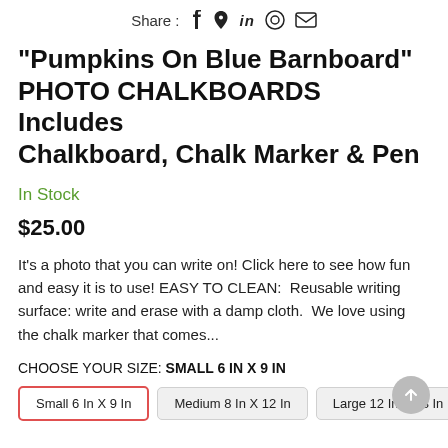Share : f  p  in  ⊙  ✉
"Pumpkins On Blue Barnboard" PHOTO CHALKBOARDS Includes Chalkboard, Chalk Marker & Pen
In Stock
$25.00
It's a photo that you can write on! Click here to see how fun and easy it is to use! EASY TO CLEAN:  Reusable writing surface: write and erase with a damp cloth.  We love using the chalk marker that comes...
CHOOSE YOUR SIZE: SMALL 6 IN X 9 IN
Small 6 In X 9 In
Medium 8 In X 12 In
Large 12 In X 18 In